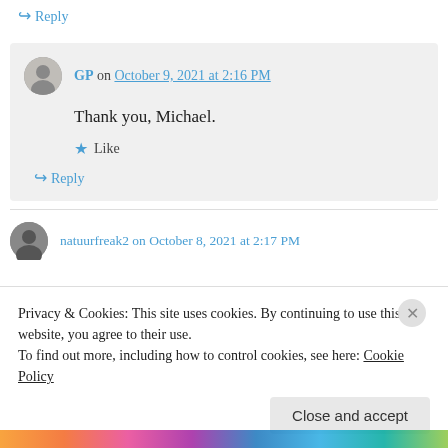↪ Reply
GP on October 9, 2021 at 2:16 PM
Thank you, Michael.
★ Like
↪ Reply
natuurfreak2 on October 8, 2021 at 2:17 PM
Privacy & Cookies: This site uses cookies. By continuing to use this website, you agree to their use.
To find out more, including how to control cookies, see here: Cookie Policy
Close and accept